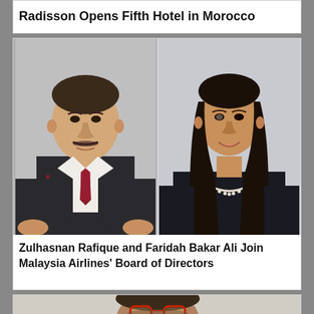Radisson Opens Fifth Hotel in Morocco
[Figure (photo): Two portrait photos side by side: left shows a man in a dark suit with a red patterned tie, right shows a woman with long dark hair wearing a black top with a pearl necklace]
Zulhasnan Rafique and Faridah Bakar Ali Join Malaysia Airlines' Board of Directors
[Figure (photo): Portrait photo of a man with glasses (red-framed), beard, partially visible from the shoulders up]